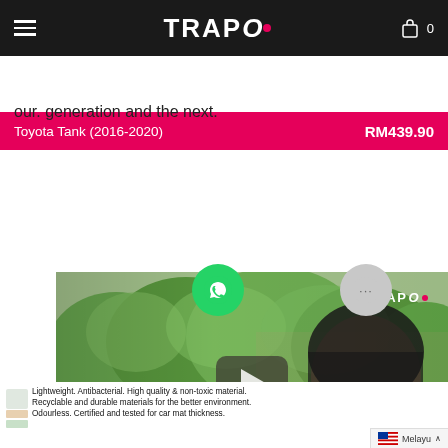TRAPO  0
Toyota Tank (2016-2020)  RM439.90
our. generation and the next.
[Figure (screenshot): Video thumbnail showing a woman driving a car with a play button overlay. TRAPO logo in top right. Caption 'We care for the environment' at the bottom.]
Lightweight. Antibacterial. High quality & non-toxic material. Recyclable and durable materials for the better environment. Odourless. Certified and tested for car mat thickness.